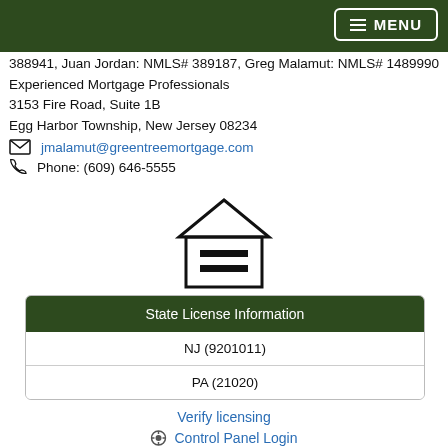MENU
388941, Juan Jordan: NMLS# 389187, Greg Malamut: NMLS# 1489990
Experienced Mortgage Professionals
3153 Fire Road, Suite 1B
Egg Harbor Township, New Jersey 08234
jmalamut@greentreemortgage.com
Phone: (609) 646-5555
[Figure (logo): Equal Housing Opportunity logo — house outline with equals sign inside, text below reading EQUAL HOUSING OPPORTUNITY]
| State License Information |
| --- |
| NJ (9201011) |
| PA (21020) |
Verify licensing
Control Panel Login